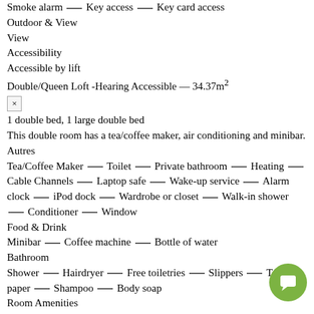Smoke alarm — Key access — Key card access
Outdoor & View
View
Accessibility
Accessible by lift
Double/Queen Loft -Hearing Accessible — 34.37m²
× (close button)
1 double bed, 1 large double bed
This double room has a tea/coffee maker, air conditioning and minibar.
Autres
Tea/Coffee Maker — Toilet — Private bathroom — Heating — Cable Channels — Laptop safe — Wake-up service — Alarm clock — iPod dock — Wardrobe or closet — Walk-in shower — Conditioner — Window
Food & Drink
Minibar — Coffee machine — Bottle of water
Bathroom
Shower — Hairdryer — Free toiletries — Slippers — Toilet paper — Shampoo — Body soap
Room Amenities
Safety Deposit Box — Air conditioning — Iron — Seating — Hardwood or parquet floors — Clothes rack — Drying rack for clothing — Trash cans — cribs — Socket near the bed
Media & Technology
TV — Telephone — Radio — Flat-screen TV — Streaming